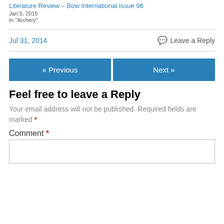Literature Review – Bow International Issue 96
Jan 5, 2015
In "Archery"
Jul 31, 2014
Leave a Reply
« Previous
Next »
Feel free to leave a Reply
Your email address will not be published. Required fields are marked *
Comment *